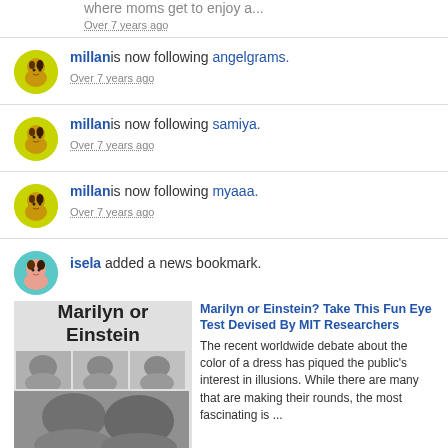where moms get to enjoy a...
Over 7 years ago
millan is now following angelgrams.
Over 7 years ago
millan is now following samiya.
Over 7 years ago
millan is now following myaaa.
Over 7 years ago
isela added a news bookmark.
[Figure (screenshot): News bookmark card with large text 'Marilyn or Einstein' and black and white face images]
Marilyn or Einstein? Take This Fun Eye Test Devised By MIT Researchers
The recent worldwide debate about the color of a dress has piqued the public's interest in illusions. While there are many that are making their rounds, the most fascinating is ...
Over 7 years ago